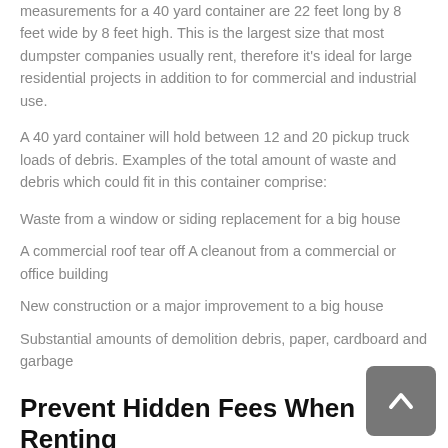measurements for a 40 yard container are 22 feet long by 8 feet wide by 8 feet high. This is the largest size that most dumpster companies usually rent, therefore it's ideal for large residential projects in addition to for commercial and industrial use.
A 40 yard container will hold between 12 and 20 pickup truck loads of debris. Examples of the total amount of waste and debris which could fit in this container comprise:
Waste from a window or siding replacement for a big house
A commercial roof tear off A cleanout from a commercial or office building
New construction or a major improvement to a big house
Substantial amounts of demolition debris, paper, cardboard and garbage
Prevent Hidden Fees When Renting a Dumpster